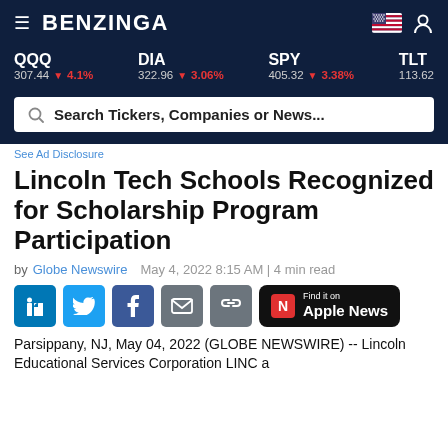BENZINGA
QQQ 307.44 ▼ 4.1%   DIA 322.96 ▼ 3.06%   SPY 405.32 ▼ 3.38%   TLT 113.62
Search Tickers, Companies or News...
See Ad Disclosure
Lincoln Tech Schools Recognized for Scholarship Program Participation
by Globe Newswire   May 4, 2022 8:15 AM | 4 min read
Parsippany, NJ, May 04, 2022 (GLOBE NEWSWIRE) -- Lincoln Educational Services Corporation LINC a